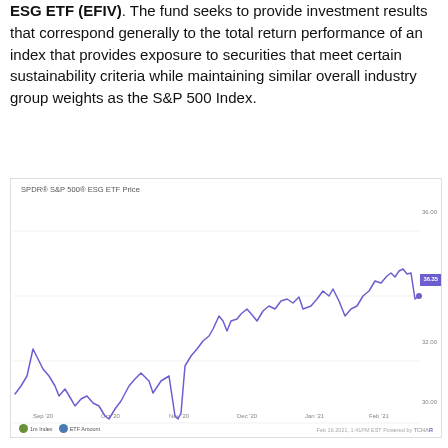ESG ETF (EFIV). The fund seeks to provide investment results that correspond generally to the total return performance of an index that provides exposure to securities that meet certain sustainability criteria while maintaining similar overall industry group weights as the S&P 500 Index.
[Figure (continuous-plot): Line chart showing SPDR S&P 500 ESG ETF (EFIV) price from Sep 2020 to Feb 2021, rising from approximately $31 to $36.35, with a notable dip in late October/November 2020. Current price tag shows 36.35. Y-axis shows values from ~30.00 to ~36.00. X-axis shows months: Sep '20, Oct '20, Nov '20, Dec '20, Jan '21, Feb '21.]